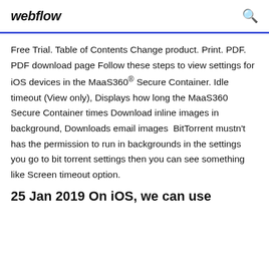webflow
Free Trial. Table of Contents Change product. Print. PDF. PDF download page Follow these steps to view settings for iOS devices in the MaaS360® Secure Container. Idle timeout (View only), Displays how long the MaaS360 Secure Container times Download inline images in background, Downloads email images  BitTorrent mustn't has the permission to run in backgrounds in the settings you go to bit torrent settings then you can see something like Screen timeout option.
25 Jan 2019 On iOS, we can use